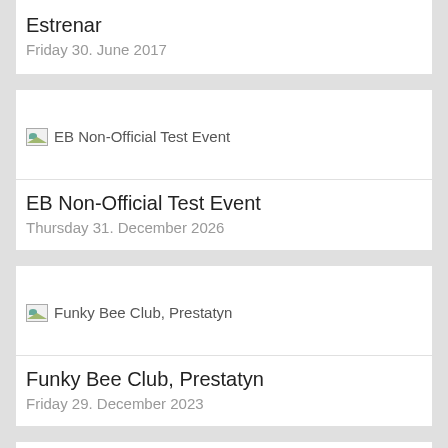Estrenar
Friday 30. June 2017
[Figure (photo): Broken image placeholder for EB Non-Official Test Event]
EB Non-Official Test Event
Thursday 31. December 2026
[Figure (photo): Broken image placeholder for Funky Bee Club, Prestatyn]
Funky Bee Club, Prestatyn
Friday 29. December 2023
[Figure (photo): Broken image placeholder for Change The FACEBOOK COLOR]